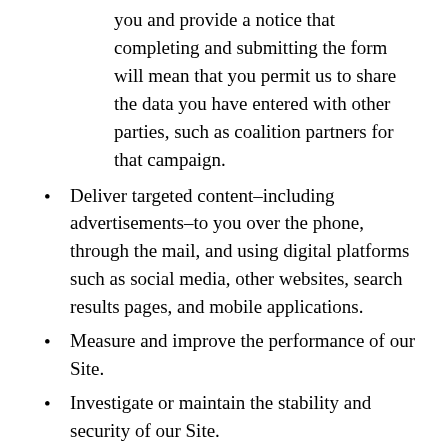you and provide a notice that completing and submitting the form will mean that you permit us to share the data you have entered with other parties, such as coalition partners for that campaign.
Deliver targeted content–including advertisements–to you over the phone, through the mail, and using digital platforms such as social media, other websites, search results pages, and mobile applications.
Measure and improve the performance of our Site.
Investigate or maintain the stability and security of our Site.